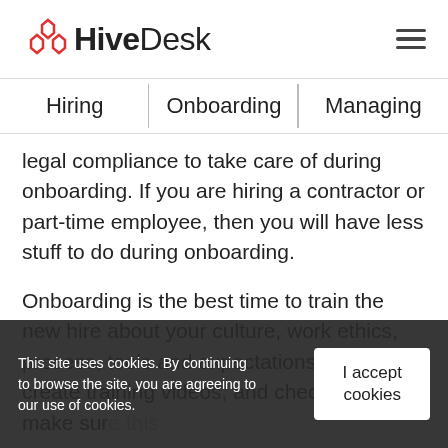HiveDesk
Hiring | Onboarding | Managing
legal compliance to take care of during onboarding. If you are hiring a contractor or part-time employee, then you will have less stuff to do during onboarding.
Onboarding is the best time to train the new hire about your culture, work ethics, process, tools and expectations. You can create training videos, and checklist to make sure this
This site uses cookies. By continuing to browse the site, you are agreeing to our use of cookies. | I accept cookies